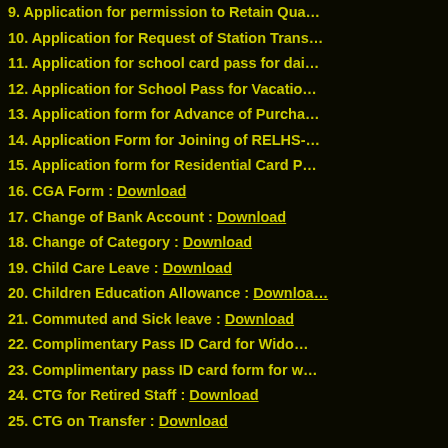9. Application for permission to Retain Qua...
10. Application for Request of Station Trans...
11. Application for school card pass for dai...
12. Application for School Pass for Vacatio...
13. Application form for Advance of Purcha...
14. Application Form for Joining of RELHS-...
15. Application form for Residential Card P...
16. CGA Form : Download
17. Change of Bank Account : Download
18. Change of Category : Download
19. Child Care Leave : Download
20. Children Education Allowance : Download...
21. Commuted and Sick leave : Download
22. Complimentary Pass ID Card for Widow...
23. Complimentary pass ID card form for w...
24. CTG for Retired Staff : Download
25. CTG on Transfer : Download